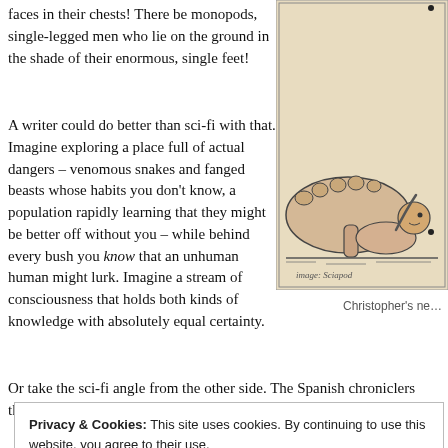faces in their chests! There be monopods, single-legged men who lie on the ground in the shade of their enormous, single feet!
[Figure (illustration): Medieval woodcut illustration of a monopod (sciapod) — a figure with one enormous foot, lying on its back using the foot as shade, with a small head and torso visible.]
A writer could do better than sci-fi with that. Imagine exploring a place full of actual dangers – venomous snakes and fanged beasts whose habits you don't know, a population rapidly learning that they might be better off without you – while behind every bush you know that an unhuman human might lurk. Imagine a stream of consciousness that holds both kinds of knowledge with absolutely equal certainty.
Christopher's ne…
Or take the sci-fi angle from the other side. The Spanish chroniclers th…
Privacy & Cookies: This site uses cookies. By continuing to use this website, you agree to their use.
To find out more, including how to control cookies, see here: Cookie Policy
Close and accept